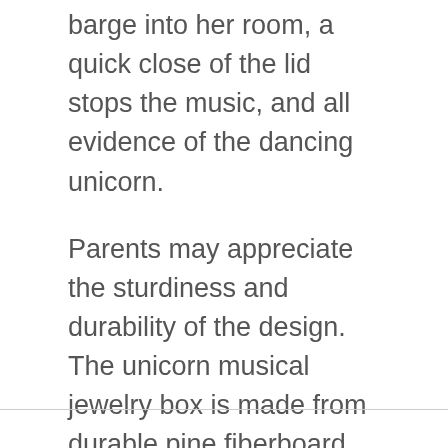barge into her room, a quick close of the lid stops the music, and all evidence of the dancing unicorn.
Parents may appreciate the sturdiness and durability of the design. The unicorn musical jewelry box is made from durable pine fiberboard material and has a chic silver-tone latch to keep the music box closed. The material complies and meets CPSIA, ASTM, and EN71safety standards and guidelines.
The Party Unicorn jewelry box is already packaged for gifting for parents who don't have time to wrap the present.